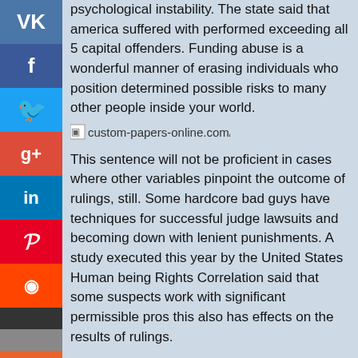psychological instability. The state said that america suffered with performed exceeding all 5 capital offenders. Funding abuse is a wonderful manner of erasing individuals who position determined possible risks to many other people inside your world.
[Figure (other): Image placeholder showing text: custom-papers-online.com/essay]
This sentence will not be proficient in cases where other variables pinpoint the outcome of rulings, still. Some hardcore bad guys have techniques for successful judge lawsuits and becoming down with lenient punishments. A study executed this year by the United States Human being Rights Correlation said that some suspects work with significant permissible pros this also has effects on the results of rulings.
i recognize youngsters who also order papers internet based tend to be